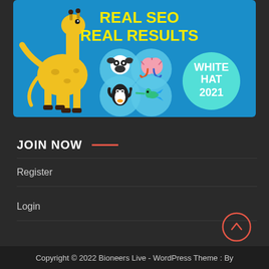[Figure (illustration): Blue banner with yellow cartoon giraffe character on left, text 'REAL SEO REAL RESULTS' in yellow, four circular icons (panda, brain, penguin, hummingbird) arranged in a 2x2 grid, and 'WHITE HAT 2021' in white text inside a cyan circle on the right]
JOIN NOW
Register
Login
Copyright © 2022 Bioneers Live - WordPress Theme : By